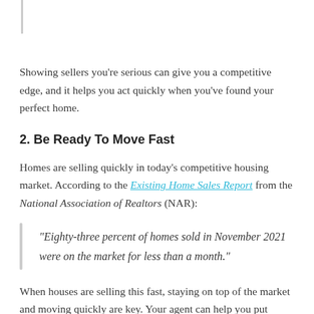Showing sellers you're serious can give you a competitive edge, and it helps you act quickly when you've found your perfect home.
2. Be Ready To Move Fast
Homes are selling quickly in today's competitive housing market. According to the Existing Home Sales Report from the National Association of Realtors (NAR):
“Eighty-three percent of homes sold in November 2021 were on the market for less than a month.”
When houses are selling this fast, staying on top of the market and moving quickly are key. Your agent can help you put together and submit your best offer as soon as you find the